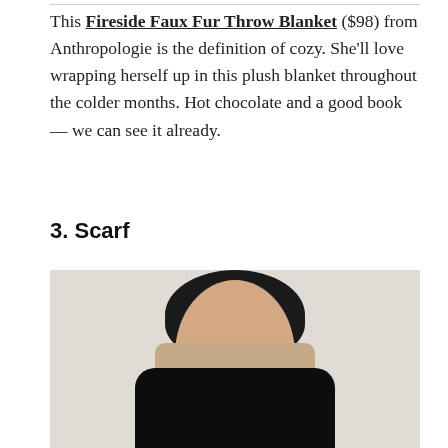This Fireside Faux Fur Throw Blanket ($98) from Anthropologie is the definition of cozy. She'll love wrapping herself up in this plush blanket throughout the colder months. Hot chocolate and a good book — we can see it already.
3. Scarf
[Figure (photo): A woman with short curly dark hair wearing a black turtleneck and a beige/tan scarf, resting her cheek on her hand, photographed against a light grey background.]